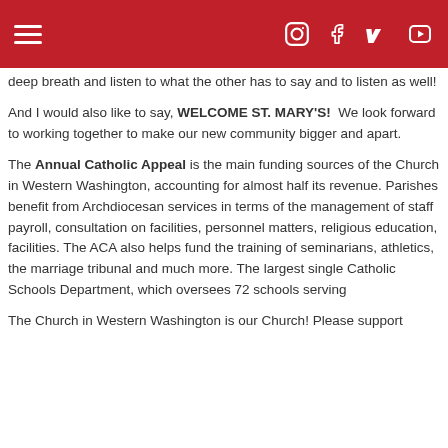Navigation header with hamburger menu and social icons (Instagram, Facebook, Vimeo, YouTube)
deep breath and listen to what the other has to say and to listen as well!
And I would also like to say, WELCOME ST. MARY'S!  We look forward to working together to make our new community bigger and apart.
The Annual Catholic Appeal is the main funding sources of the Church in Western Washington, accounting for almost half its revenue. Parishes benefit from Archdiocesan services in terms of the management of staff payroll, consultation on facilities, personnel matters, religious education, facilities. The ACA also helps fund the training of seminarians, athletics, the marriage tribunal and much more. The largest single Catholic Schools Department, which oversees 72 schools serving
The Church in Western Washington is our Church! Please support